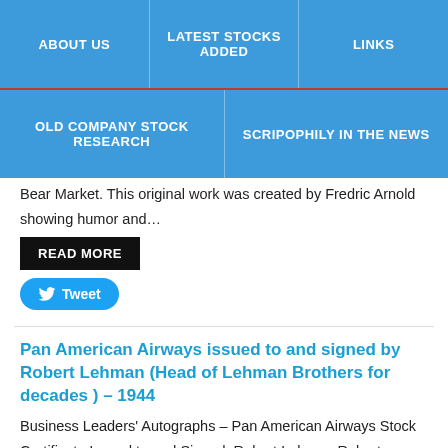ABOUT US | LATEST STOCKS ADDED | LINKS | OLD COMPANY STOCK RESEARCH | SCRIPOPHILY IN THE NEWS
Bear Market. This original work was created by Fredric Arnold showing humor and…
READ MORE
Tweet
Pan American Airways issued to and signed by Robert Lehman (Head of Lehman Brothers for decades ) – 1944
Business Leaders' Autographs – Pan American Airways Stock Certificate Issued to and Signed: Robert Lehman Robert Lehman was an American banker who headed Lehman Brothers and was a well-known racehorse owner. Lehman Brothers was a global financial services firm that…
READ MORE